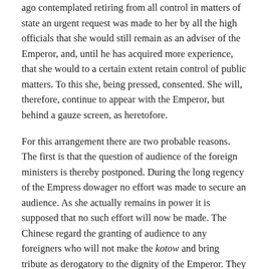ago contemplated retiring from all control in matters of state an urgent request was made to her by all the high officials that she would still remain as an adviser of the Emperor, and, until he has acquired more experience, that she would to a certain extent retain control of public matters. To this she, being pressed, consented. She will, therefore, continue to appear with the Emperor, but behind a gauze screen, as heretofore.
For this arrangement there are two probable reasons. The first is that the question of audience of the foreign ministers is thereby postponed. During the long regency of the Empress dowager no effort was made to secure an audience. As she actually remains in power it is supposed that no such effort will now be made. The Chinese regard the granting of audience to any foreigners who will not make the kotow and bring tribute as derogatory to the dignity of the Emperor. They think that their own people will regard the granting of audience as a waiver of the claim of universal dominion, which is the traditional superstition of China. They are anxious that the reign of the Emperor shall not at the outset be marked by a retrocession from a revered belief. While in Corea and Japan the seclusion of the King and Emperor